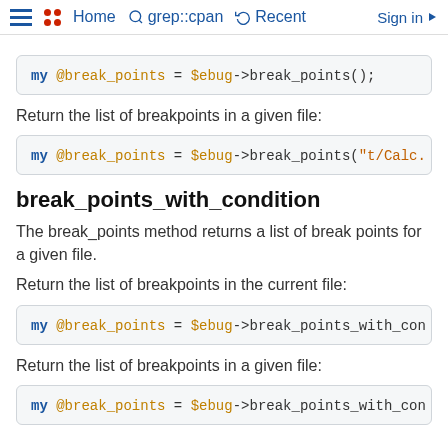Home  grep::cpan  Recent  Sign in
[Figure (screenshot): Code block: my @break_points = $ebug->break_points();]
Return the list of breakpoints in a given file:
[Figure (screenshot): Code block: my @break_points = $ebug->break_points("t/Calc.]
break_points_with_condition
The break_points method returns a list of break points for a given file.
Return the list of breakpoints in the current file:
[Figure (screenshot): Code block: my @break_points = $ebug->break_points_with_con]
Return the list of breakpoints in a given file:
[Figure (screenshot): Code block: my @break_points = $ebug->break_points_with_con]